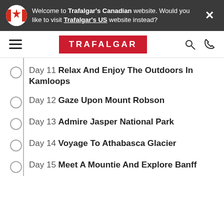Welcome to Trafalgar's Canadian website. Would you like to visit Trafalgar's US website instead?
[Figure (logo): Trafalgar logo - white text on red background]
Day 11 Relax And Enjoy The Outdoors In Kamloops
Day 12 Gaze Upon Mount Robson
Day 13 Admire Jasper National Park
Day 14 Voyage To Athabasca Glacier
Day 15 Meet A Mountie And Explore Banff